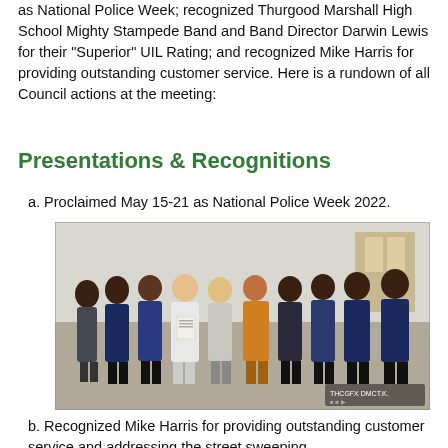as National Police Week; recognized Thurgood Marshall High School Mighty Stampede Band and Band Director Darwin Lewis for their “Superior” UIL Rating; and recognized Mike Harris for providing outstanding customer service. Here is a rundown of all Council actions at the meeting:
Presentations & Recognitions
a. Proclaimed May 15-21 as National Police Week 2022.
[Figure (photo): Group photo of city council members and police officers gathered indoors for National Police Week 2022 proclamation ceremony.]
b. Recognized Mike Harris for providing outstanding customer service and addressing the street sweeping